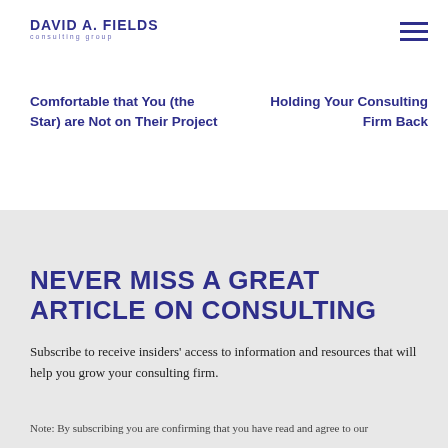DAVID A. FIELDS consulting group
Comfortable that You (the Star) are Not on Their Project
Holding Your Consulting Firm Back
NEVER MISS A GREAT ARTICLE ON CONSULTING
Subscribe to receive insiders' access to information and resources that will help you grow your consulting firm.
Note: By subscribing you are confirming that you have read and agree to our